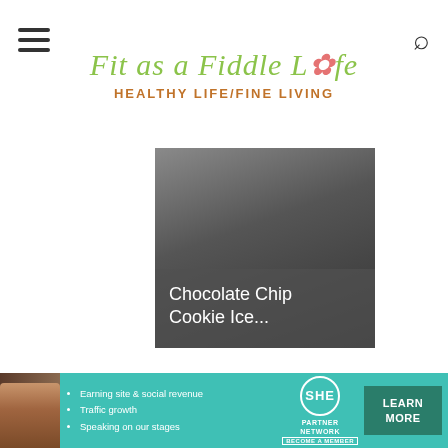Fit as a Fiddle Life — Healthy Life/Fine Living
[Figure (photo): Article card image with dark gradient background and text overlay reading 'Chocolate Chip Cookie Ice...']
[Figure (photo): Second article card image with gray gradient background, partially cut off at bottom of visible area]
[Figure (photo): SHE Partner Network advertisement banner with woman's photo, bullet points about earning site and social revenue, traffic growth, speaking on stages, and a Learn More button]